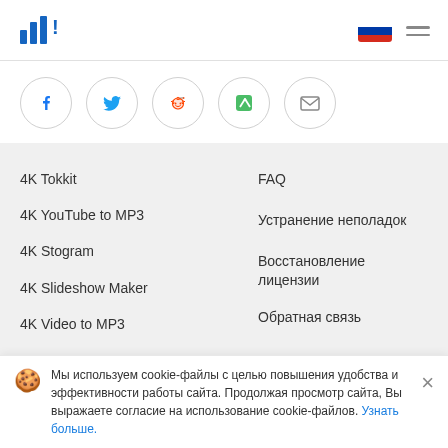4K logo, Russian flag, hamburger menu
[Figure (infographic): Social sharing buttons: Facebook, Twitter, Reddit, Feedly, Email]
4K Tokkit
4K YouTube to MP3
4K Stogram
4K Slideshow Maker
4K Video to MP3
Скачать
FAQ
Устранение неполадок
Восстановление лицензии
Обратная связь
Правовая
Компания
Мы используем cookie-файлы с целью повышения удобства и эффективности работы сайта. Продолжая просмотр сайта, Вы выражаете согласие на использование cookie-файлов. Узнать больше.